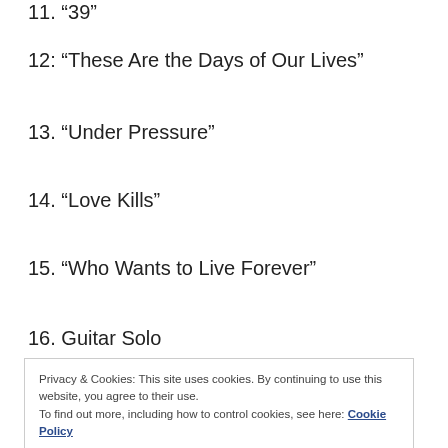11. “39”
12: “These Are the Days of Our Lives”
13. “Under Pressure”
14. “Love Kills”
15. “Who Wants to Live Forever”
16. Guitar Solo
Privacy & Cookies: This site uses cookies. By continuing to use this website, you agree to their use.
To find out more, including how to control cookies, see here: Cookie Policy
19. “Crazy Little Thing Called Love”